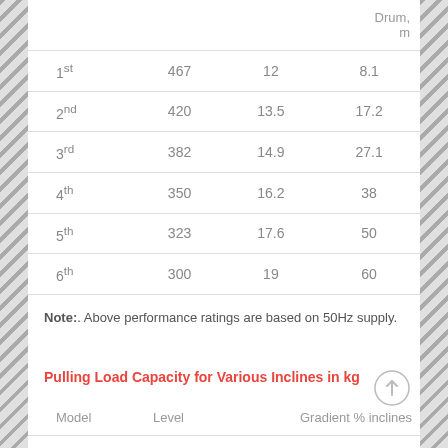|  |  |  | Drum, m |
| --- | --- | --- | --- |
| 1st | 467 | 12 | 8.1 |
| 2nd | 420 | 13.5 | 17.2 |
| 3rd | 382 | 14.9 | 27.1 |
| 4th | 350 | 16.2 | 38 |
| 5th | 323 | 17.6 | 50 |
| 6th | 300 | 19 | 60 |
Note:. Above performance ratings are based on 50Hz supply.
Pulling Load Capacity for Various Inclines in kg
| Model | Level |  | Gradient % inclines |
| --- | --- | --- | --- |